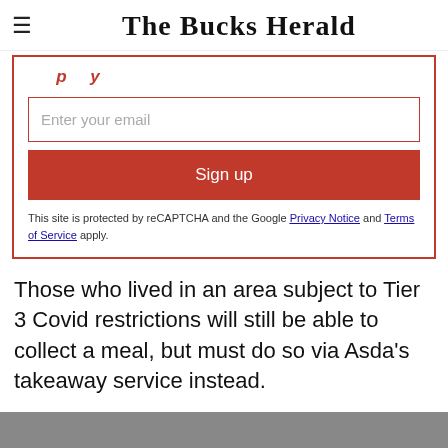The Bucks Herald
Enter your email
Sign up
This site is protected by reCAPTCHA and the Google Privacy Notice and Terms of Service apply.
Those who lived in an area subject to Tier 3 Covid restrictions will still be able to collect a meal, but must do so via Asda's takeaway service instead.
Both hot and cold menu items will be up for